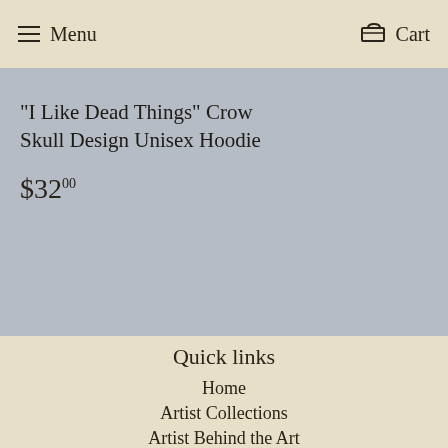Menu  Cart
"I Like Dead Things" Crow Skull Design Unisex Hoodie
$32.00
Quick links
Home
Artist Collections
Artist Behind the Art
Pebble Art Stencils